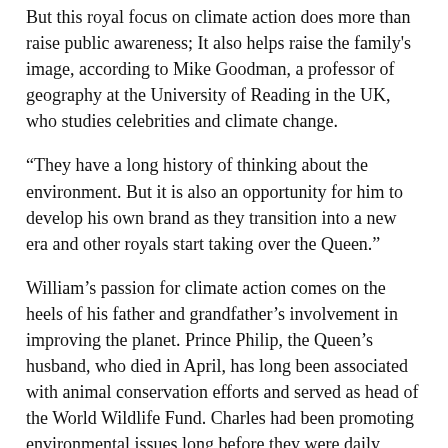But this royal focus on climate action does more than raise public awareness; It also helps raise the family's image, according to Mike Goodman, a professor of geography at the University of Reading in the UK, who studies celebrities and climate change.
“They have a long history of thinking about the environment. But it is also an opportunity for him to develop his own brand as they transition into a new era and other royals start taking over the Queen.”
William’s passion for climate action comes on the heels of his father and grandfather’s involvement in improving the planet. Prince Philip, the Queen’s husband, who died in April, has long been associated with animal conservation efforts and served as head of the World Wildlife Fund. Charles had been promoting environmental issues long before they were daily news, and he often expressed frustration with the lack of attention his efforts had received.